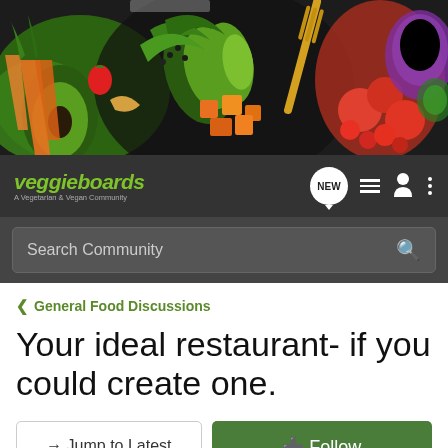[Figure (photo): Colorful vegetable and salad food banner photo showing avocado, carrots, tomatoes, onions, leafy greens, and various fresh vegetables on a dark background]
veggieboards — A Vegetarian & Vegan Community
Search Community
< General Food Discussions
Your ideal restaurant- if you could create one.
→ Jump to Latest
+ Follow
1 - 20 of 36 Posts
1 of 2 ▶